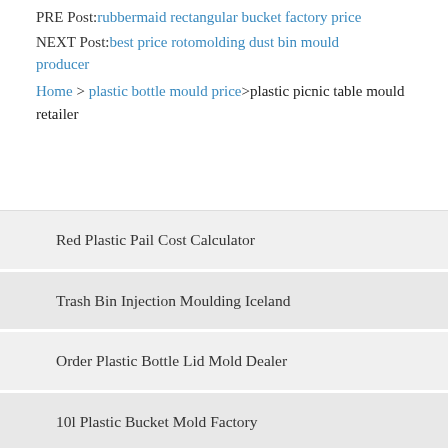PRE Post: rubbermaid rectangular bucket factory price
NEXT Post: best price rotomolding dust bin mould producer
Home > plastic bottle mould price>plastic picnic table mould retailer
Red Plastic Pail Cost Calculator
Trash Bin Injection Moulding Iceland
Order Plastic Bottle Lid Mold Dealer
10l Plastic Bucket Mold Factory
Cheap Price Lastic Bucket With Handle Outlet
Bottle Mold Palestine